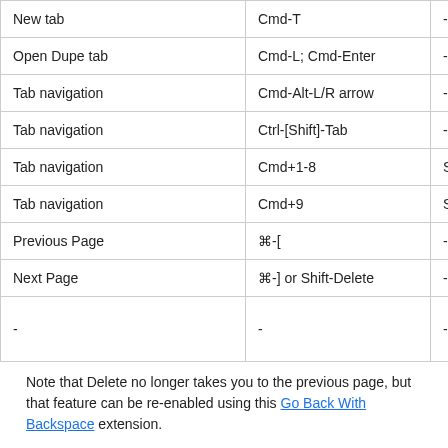| Action | Shortcut (Mac) | Notes |
| --- | --- | --- |
| New tab | Cmd-T | - |
| Open Dupe tab | Cmd-L; Cmd-Enter | - |
| Tab navigation | Cmd-Alt-L/R arrow | - |
| Tab navigation | Ctrl-[Shift]-Tab | - |
| Tab navigation | Cmd+1-8 | Switch to the specified t |
| Tab navigation | Cmd+9 | Switch to the last tab |
| Previous Page | ⌘-[ | - |
| Next Page | ⌘-] or Shift-Delete | - |
| - | - | - |
Note that Delete no longer takes you to the previous page, but that feature can be re-enabled using this Go Back With Backspace extension.
Navigating to Google search result links
After entering a search term and hitting Enter, you can hit Tab, then use the up and down arrow keys to navigate to the selected link. Note that this can be surprisingly tricky to...